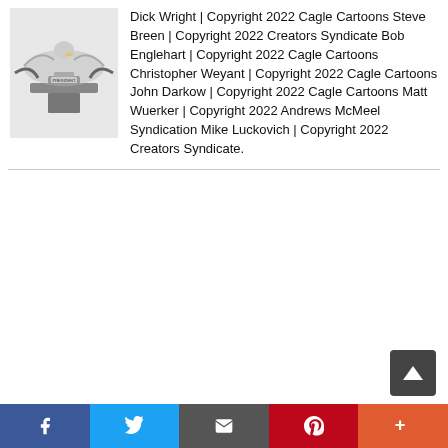[Figure (illustration): Thumbnail cartoon image showing hands around a presidential desk/chair with an eagle motif]
Dick Wright | Copyright 2022 Cagle Cartoons Steve Breen | Copyright 2022 Creators Syndicate Bob Englehart | Copyright 2022 Cagle Cartoons Christopher Weyant | Copyright 2022 Cagle Cartoons John Darkow | Copyright 2022 Cagle Cartoons Matt Wuerker | Copyright 2022 Andrews McMeel Syndication Mike Luckovich | Copyright 2022 Creators Syndicate.
Facebook | Twitter | Email | Pinterest | More